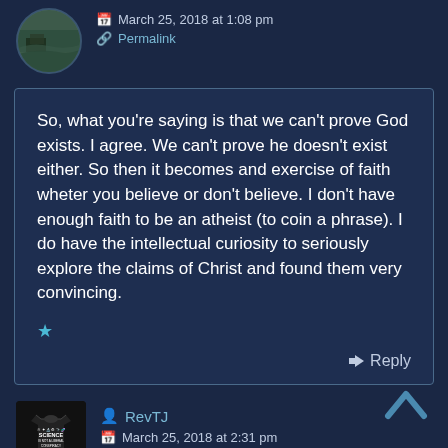[Figure (photo): Circular avatar photo of a person, outdoor scene with trees]
March 25, 2018 at 1:08 pm
Permalink
So, what you’re saying is that we can’t prove God exists. I agree. We can’t prove he doesn’t exist either. So then it becomes and exercise of faith wheter you believe or don’t believe. I don’t have enough faith to be an atheist (to coin a phrase). I do have the intellectual curiosity to seriously explore the claims of Christ and found them very convincing.
Reply
[Figure (photo): Square avatar with black t-shirt showing SCIENCE IS NOT A LIBERAL CONSPIRACY text]
RevTJ
March 25, 2018 at 2:31 pm